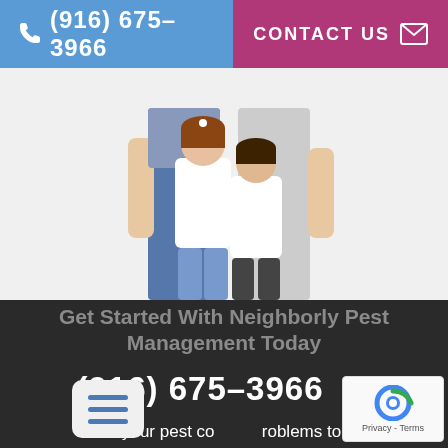(916) 675-3966   CONTACT US
[Figure (photo): A family photo showing two adults and two children (a girl and a boy) in white clothing, posed together on a white background.]
Get Started With Neighborly Pest Management Today
(916) 675-3966
Solve your pest control problems today!